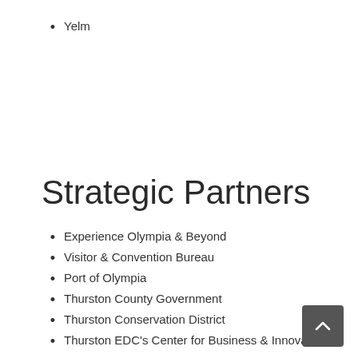Yelm
Strategic Partners
Experience Olympia & Beyond
Visitor & Convention Bureau
Port of Olympia
Thurston County Government
Thurston Conservation District
Thurston EDC's Center for Business & Innovation